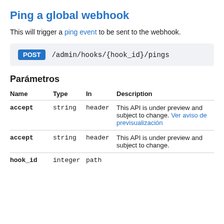Ping a global webhook
This will trigger a ping event to be sent to the webhook.
POST /admin/hooks/{hook_id}/pings
Parámetros
| Name | Type | In | Description |
| --- | --- | --- | --- |
| accept | string | header | This API is under preview and subject to change. Ver aviso de previsualización |
| accept | string | header | This API is under preview and subject to change. |
| hook_id | integer | path |  |